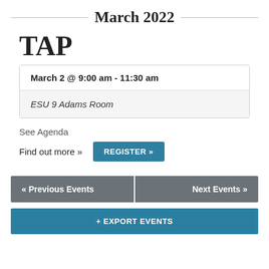March 2022
TAP
| March 2 @ 9:00 am - 11:30 am |
| ESU 9 Adams Room |
See Agenda
Find out more »   REGISTER »
« Previous Events
Next Events »
+ EXPORT EVENTS